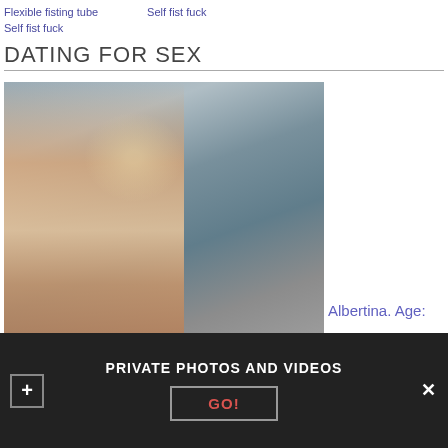Flexible fisting tube    Self fist fuck
Self fist fuck
DATING FOR SEX
[Figure (photo): Blonde woman in artistic photo against textured grey wall background]
Albertina. Age:
PRIVATE PHOTOS AND VIDEOS
GO!